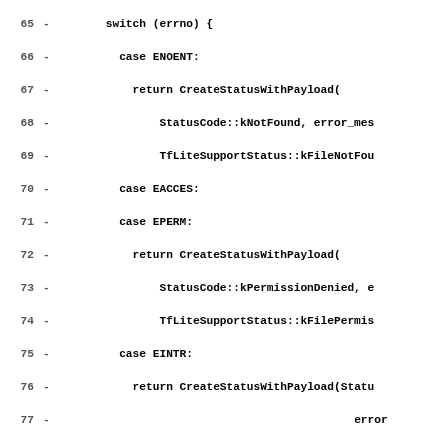[Figure (screenshot): Source code diff view showing C++ code lines 65-95, with line numbers, dash markers, and code content in bold monospace font. The code shows a switch statement handling errno values (ENOENT, EACCES, EPERM, EINTR, EBADF, default) with CreateStatusWithPayload calls, followed by fd assignment and else block.]